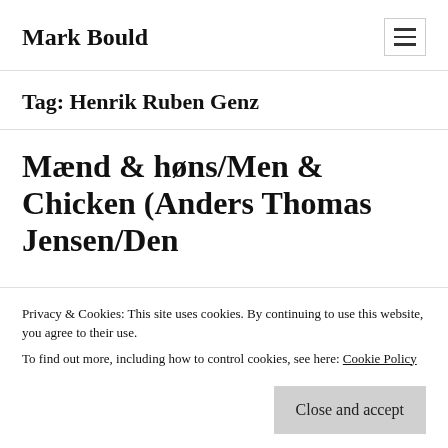Mark Bould
Tag: Henrik Ruben Genz
Mænd & høns/Men & Chicken (Anders Thomas Jensen/Denmark/C…
Privacy & Cookies: This site uses cookies. By continuing to use this website, you agree to their use.
To find out more, including how to control cookies, see here: Cookie Policy
Close and accept
time, m